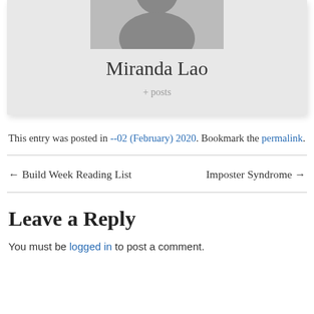[Figure (illustration): Profile card with silhouette avatar image and author name Miranda Lao, with a '+ posts' link below.]
This entry was posted in --02 (February) 2020. Bookmark the permalink.
← Build Week Reading List    Imposter Syndrome →
Leave a Reply
You must be logged in to post a comment.